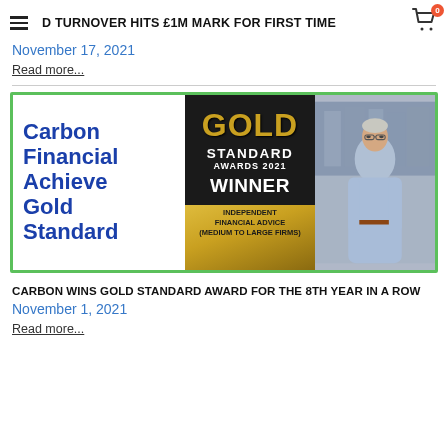D TURNOVER HITS £1M MARK FOR FIRST TIME
November 17, 2021
Read more...
[Figure (illustration): Carbon Financial Gold Standard Awards 2021 Winner banner showing blue text 'Carbon Financial Achieve Gold Standard' on white left panel, gold/black center panel with 'GOLD STANDARD AWARDS 2021 WINNER INDEPENDENT FINANCIAL ADVICE (MEDIUM TO LARGE FIRMS)', and a photo of a man in a blue shirt on the right, all surrounded by a green border.]
CARBON WINS GOLD STANDARD AWARD FOR THE 8TH YEAR IN A ROW
November 1, 2021
Read more...